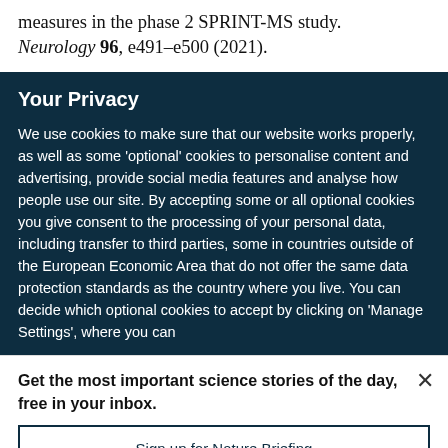measures in the phase 2 SPRINT-MS study. Neurology 96, e491–e500 (2021).
Your Privacy
We use cookies to make sure that our website works properly, as well as some 'optional' cookies to personalise content and advertising, provide social media features and analyse how people use our site. By accepting some or all optional cookies you give consent to the processing of your personal data, including transfer to third parties, some in countries outside of the European Economic Area that do not offer the same data protection standards as the country where you live. You can decide which optional cookies to accept by clicking on 'Manage Settings', where you can
Get the most important science stories of the day, free in your inbox.
Sign up for Nature Briefing